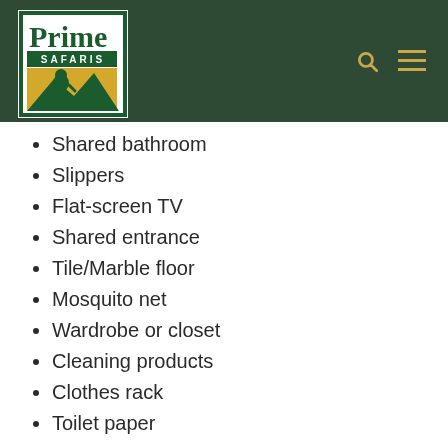[Figure (logo): Prime Safaris logo with gorilla silhouette on yellow/green background]
Shared bathroom
Slippers
Flat-screen TV
Shared entrance
Tile/Marble floor
Mosquito net
Wardrobe or closet
Cleaning products
Clothes rack
Toilet paper
Service & facilities.